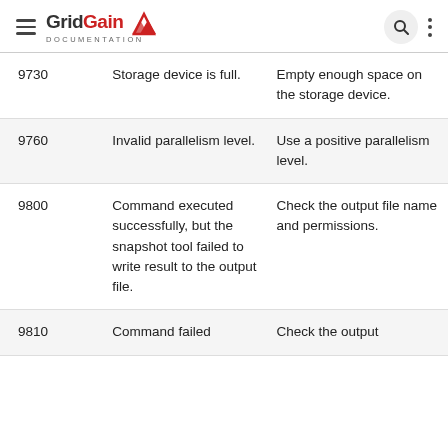GridGain DOCUMENTATION
| Code | Description | Action |
| --- | --- | --- |
| 9730 | Storage device is full. | Empty enough space on the storage device. |
| 9760 | Invalid parallelism level. | Use a positive parallelism level. |
| 9800 | Command executed successfully, but the snapshot tool failed to write result to the output file. | Check the output file name and permissions. |
| 9810 | Command failed | Check the output |